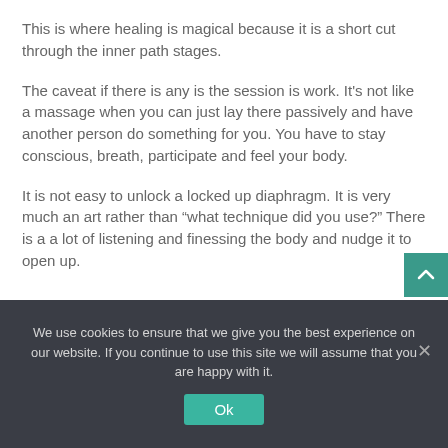This is where healing is magical because it is a short cut through the inner path stages.
The caveat if there is any is the session is work.  It's not like a massage when you can just lay there passively and have another person do something for you.  You have to stay conscious, breath, participate and feel your body.
It is not easy to unlock a locked up diaphragm.  It is very much an art rather than “what technique did you use?”  There is a a lot of listening and finessing the body and nudge it to open up.
We use cookies to ensure that we give you the best experience on our website. If you continue to use this site we will assume that you are happy with it.